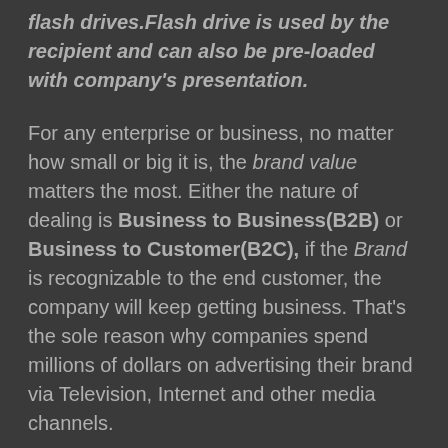flash drives.Flash drive is used by the recipient and can also be pre-loaded with company's presentation.
For any enterprise or business, no matter how small or big it is, the brand value matters the most. Either the nature of dealing is Business to Business(B2B) or Business to Customer(B2C), if the Brand is recognizable to the end customer, the company will keep getting business. That's the sole reason why companies spend millions of dollars on advertising their brand via Television, Internet and other media channels.
But there's another conventional method of Brand promotion, probably the oldest and most effective of all. P...